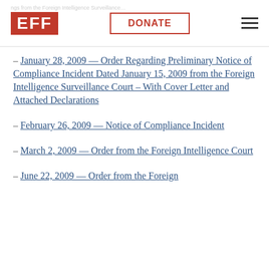EFF | DONATE
– January 28, 2009 — Order Regarding Preliminary Notice of Compliance Incident Dated January 15, 2009 from the Foreign Intelligence Surveillance Court – With Cover Letter and Attached Declarations
– February 26, 2009 — Notice of Compliance Incident
– March 2, 2009 — Order from the Foreign Intelligence Court
– June 22, 2009 — Order from the Foreign...